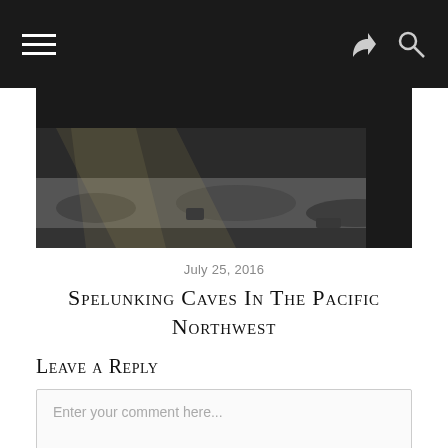[Figure (photo): Dark cave interior with rocky ground and a beam of light entering from the upper left]
July 25, 2016
Spelunking Caves In The Pacific Northwest
Leave a Reply
Enter your comment here...
This site uses Akismet to reduce spam. Learn how your comment data is pro